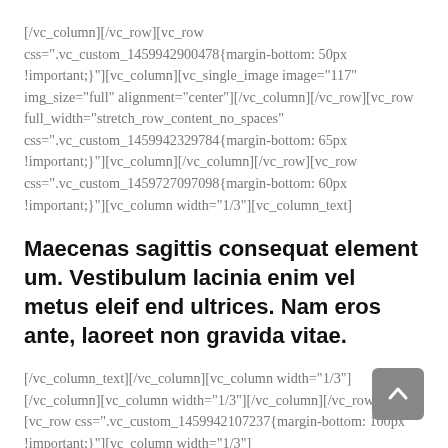[/vc_column][/vc_row][vc_row css=".vc_custom_1459942900478{margin-bottom: 50px !important;}"][vc_column][vc_single_image image="117" img_size="full" alignment="center"][/vc_column][/vc_row][vc_row full_width="stretch_row_content_no_spaces" css=".vc_custom_1459942329784{margin-bottom: 65px !important;}"][vc_column][/vc_column][/vc_row][vc_row css=".vc_custom_1459727097098{margin-bottom: 60px !important;}"][vc_column width="1/3"][vc_column_text]
Maecenas sagittis consequat element um. Vestibulum lacinia enim vel metus eleif end ultrices. Nam eros ante, laoreet non gravida vitae.
[/vc_column_text][/vc_column][vc_column width="1/3"][/vc_column][vc_column width="1/3"][/vc_column][/vc_row][vc_row css=".vc_custom_1459942107237{margin-bottom: 100px !important;}"][vc_column width="1/3"]